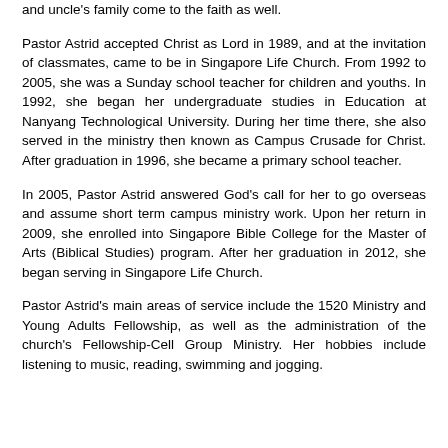and uncle's family come to the faith as well.
Pastor Astrid accepted Christ as Lord in 1989, and at the invitation of classmates, came to be in Singapore Life Church. From 1992 to 2005, she was a Sunday school teacher for children and youths. In 1992, she began her undergraduate studies in Education at Nanyang Technological University. During her time there, she also served in the ministry then known as Campus Crusade for Christ. After graduation in 1996, she became a primary school teacher.
In 2005, Pastor Astrid answered God's call for her to go overseas and assume short term campus ministry work. Upon her return in 2009, she enrolled into Singapore Bible College for the Master of Arts (Biblical Studies) program. After her graduation in 2012, she began serving in Singapore Life Church.
Pastor Astrid's main areas of service include the 1520 Ministry and Young Adults Fellowship, as well as the administration of the church's Fellowship-Cell Group Ministry. Her hobbies include listening to music, reading, swimming and jogging.